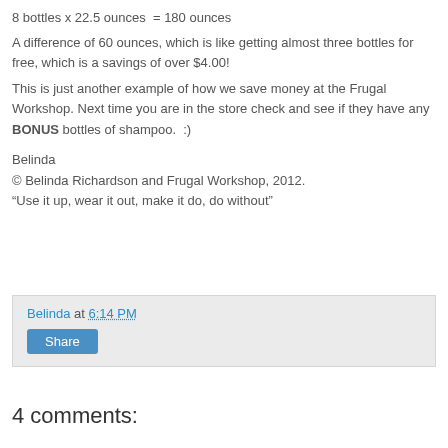A difference of 60 ounces, which is like getting almost three bottles for free, which is a savings of over $4.00!
This is just another example of how we save money at the Frugal Workshop. Next time you are in the store check and see if they have any BONUS bottles of shampoo.  :)
Belinda
© Belinda Richardson and Frugal Workshop, 2012.
“Use it up, wear it out, make it do, do without”
Belinda at 6:14 PM
Share
4 comments: